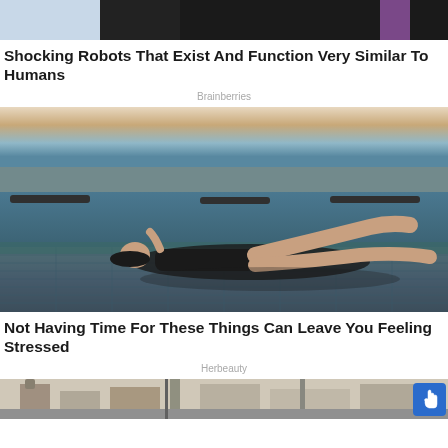[Figure (photo): Partial cropped image at top, showing dark background with partial figures]
Shocking Robots That Exist And Function Very Similar To Humans
Brainberries
[Figure (photo): Woman in black swimsuit lying on infinity pool edge with ocean and sunset in background]
Not Having Time For These Things Can Leave You Feeling Stressed
Herbeauty
[Figure (photo): Partial cropped image at bottom, showing urban buildings and street scene]